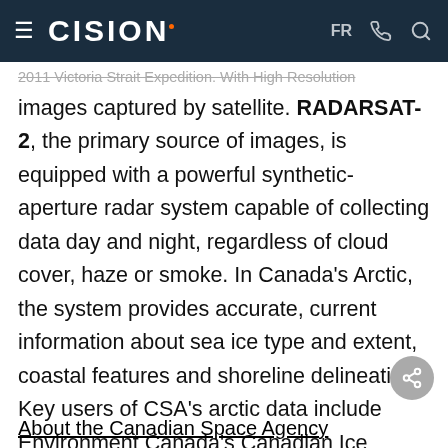CISION — FR
2011 Victoria Strait Expedition. With High Resolution images captured by satellite. RADARSAT-2, the primary source of images, is equipped with a powerful synthetic-aperture radar system capable of collecting data day and night, regardless of cloud cover, haze or smoke. In Canada's Arctic, the system provides accurate, current information about sea ice type and extent, coastal features and shoreline delineation. Key users of CSA's arctic data include Environment Canada's Canadian Ice Services and e-Space program, the Canadian Coast Guard, Canadian Hydrographic Service and the Royal Canadian Navy.
About the Canadian Space Agency